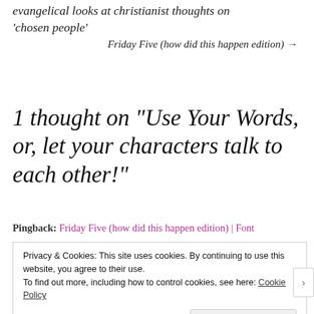evangelical looks at christianist thoughts on ‘chosen people’
Friday Five (how did this happen edition) →
1 thought on “Use Your Words, or, let your characters talk to each other!”
Pingback: Friday Five (how did this happen edition) | Font
Privacy & Cookies: This site uses cookies. By continuing to use this website, you agree to their use. To find out more, including how to control cookies, see here: Cookie Policy
Close and accept